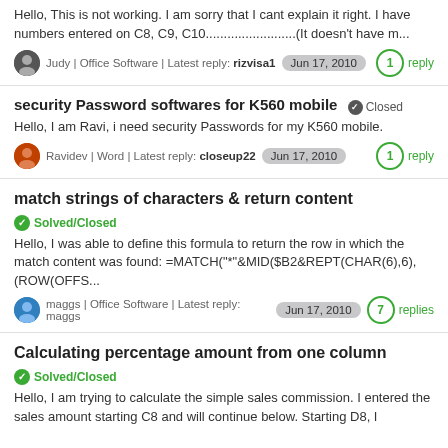Hello, This is not working. I am sorry that I cant explain it right. I have numbers entered on C8, C9, C10.........................(It doesn't have m...
Judy | Office Software | Latest reply: rizvisa1  Jun 17, 2010  1 reply
security Password softwares for K560 mobile  Closed
Hello, I am Ravi, i need security Passwords for my K560 mobile.
Ravidev | Word | Latest reply: closeup22  Jun 17, 2010  1 reply
match strings of characters & return content
Solved/Closed
Hello, I was able to define this formula to return the row in which the match content was found: =MATCH("*"&MID($B2&REPT(CHAR(6),6),(ROW(OFFS...
maggs | Office Software | Latest reply: maggs  Jun 17, 2010  7 replies
Calculating percentage amount from one column
Solved/Closed
Hello, I am trying to calculate the simple sales commission. I entered the sales amount starting C8 and will continue below. Starting D8, I